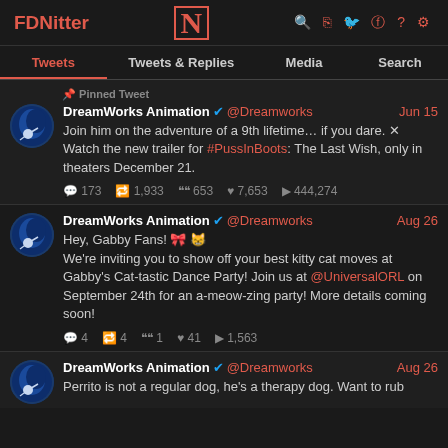FDNitter | N | (search, rss, twitter, link, ?, settings icons)
Tweets | Tweets & Replies | Media | Search
📌 Pinned Tweet
DreamWorks Animation ✓ @Dreamworks Jun 15
Join him on the adventure of a 9th lifetime… if you dare. ✕ Watch the new trailer for #PussInBoots: The Last Wish, only in theaters December 21.
💬 173  🔁 1,933  99 653  ♥ 7,653  ▶ 444,274
DreamWorks Animation ✓ @Dreamworks Aug 26
Hey, Gabby Fans! 🎀 😸
We're inviting you to show off your best kitty cat moves at Gabby's Cat-tastic Dance Party! Join us at @UniversalORL on September 24th for an a-meow-zing party! More details coming soon!
💬 4  🔁 4  99 1  ♥ 41  ▶ 1,563
DreamWorks Animation ✓ @Dreamworks Aug 26
Perrito is not a regular dog, he's a therapy dog. Want to rub